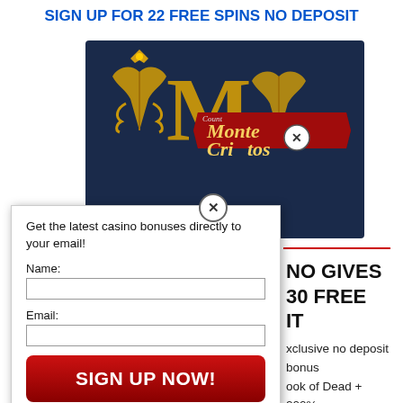SIGN UP FOR 22 FREE SPINS NO DEPOSIT
[Figure (logo): Count Monte Cristos casino logo on dark navy background with golden ornamental design and red ribbon banner]
[Figure (screenshot): Email signup popup overlay with form fields for Name and Email, a red SIGN UP NOW button, privacy notice, AWeber attribution, and cookie policy disclaimer]
NO GIVES 30 FREE IT
xclusive no deposit bonus ook of Dead + 200% 500 to all new customers. spins no deposit